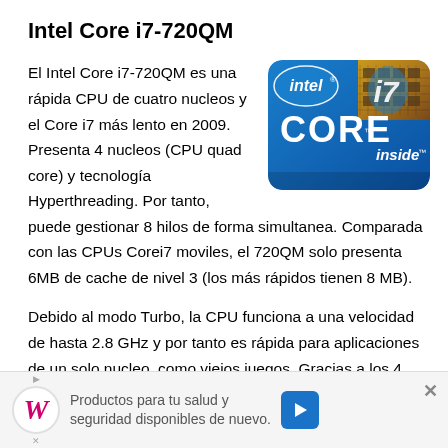Intel Core i7-720QM
[Figure (logo): Intel Core i7 inside logo — blue rounded square with 'intel' text, 'i7' in stylized font, 'CORE' large text, 'inside' text, and circuit board texture in background]
El Intel Core i7-720QM es una rápida CPU de cuatro nucleos y el Core i7 más lento en 2009. Presenta 4 nucleos (CPU quad core) y tecnología Hyperthreading. Por tanto, puede gestionar 8 hilos de forma simultanea. Comparada con las CPUs Corei7 moviles, el 720QM solo presenta 6MB de cache de nivel 3 (los más rápidos tienen 8 MB).
Debido al modo Turbo, la CPU funciona a una velocidad de hasta 2.8 GHz y por tanto es rápida para aplicaciones de un solo nucleo, como viejos juegos. Gracias a los 4
[Figure (infographic): Advertisement banner: Walgreens ad with W logo, text 'Productos para tu salud y seguridad disponibles de nuevo.' with play/close icons and blue arrow button]